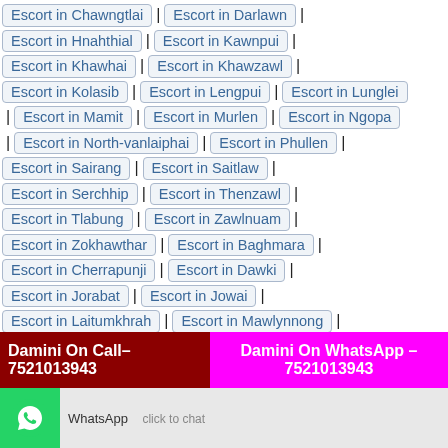Escort in Chawngtlai | Escort in Darlawn |
Escort in Hnahthial | Escort in Kawnpui |
Escort in Khawhai | Escort in Khawzawl |
Escort in Kolasib | Escort in Lengpui | Escort in Lunglei
| Escort in Mamit | Escort in Murlen | Escort in Ngopa
| Escort in North-vanlaiphai | Escort in Phullen |
Escort in Sairang | Escort in Saitlaw |
Escort in Serchhip | Escort in Thenzawl |
Escort in Tlabung | Escort in Zawlnuam |
Escort in Zokhawthar | Escort in Baghmara |
Escort in Cherrapunji | Escort in Dawki |
Escort in Jorabat | Escort in Jowai |
Escort in Laitumkhrah | Escort in Mawlynnong |
Damini On Call– 7521013943
Damini On WhatsApp – 7521013943